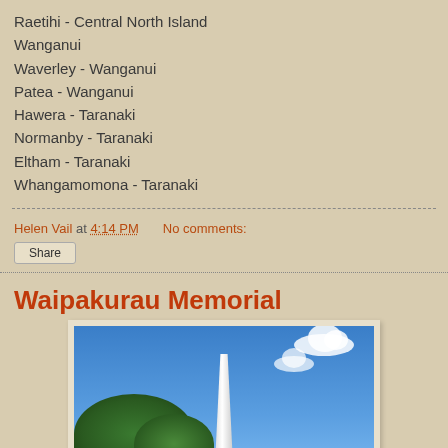Raetihi - Central North Island
Wanganui
Waverley - Wanganui
Patea - Wanganui
Hawera - Taranaki
Normanby - Taranaki
Eltham - Taranaki
Whangamomona - Taranaki
Helen Vail at 4:14 PM   No comments:
Share
Waipakurau Memorial
[Figure (photo): Photograph of the Waipakurau Memorial - a tall white obelisk monument against a blue sky with clouds, with green trees visible in the foreground]